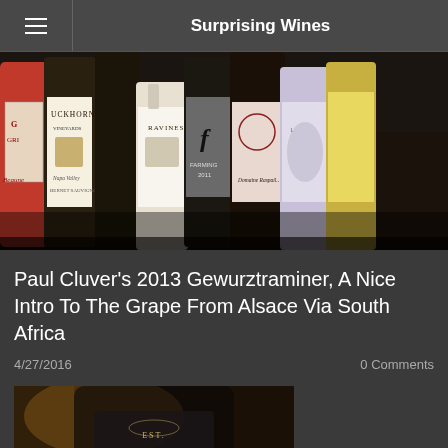Surprising Wines
[Figure (photo): Row of wine bottles including Duckhorn, Ravines, Domaine Raspail and other wine labels on a dark background]
Paul Cluver's 2013 Gewurztraminer, A Nice Intro To The Grape From Alsace Via South Africa
4/27/2016    0 Comments
[Figure (photo): Close-up of a wine bottle or glass with EST. 1896 visible on the label]